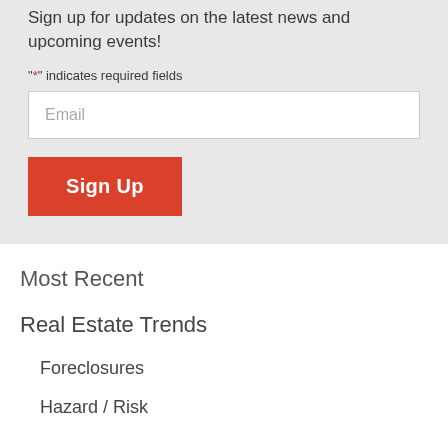Sign up for updates on the latest news and upcoming events!
"*" indicates required fields
Email
Sign Up
Most Recent
Real Estate Trends
Foreclosures
Hazard / Risk